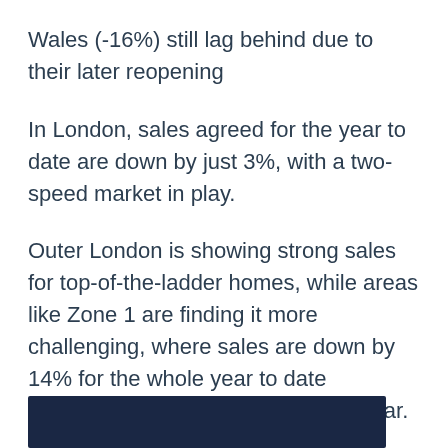Wales (-16%) still lag behind due to their later reopening
In London, sales agreed for the year to date are down by just 3%, with a two-speed market in play.
Outer London is showing strong sales for top-of-the-ladder homes, while areas like Zone 1 are finding it more challenging, where sales are down by 14% for the whole year to date compared to the same period last year.
[Figure (photo): Dark navy background image strip at the bottom of the page]